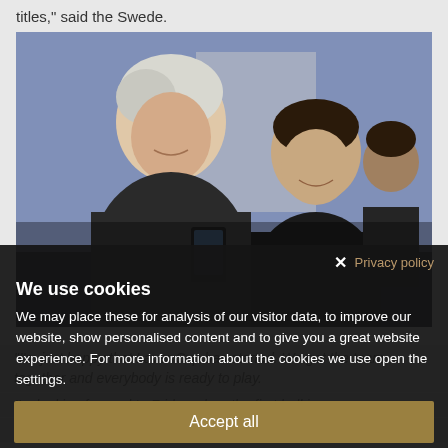titles," said the Swede.
[Figure (photo): Two men in formal attire smiling together at an event, one elderly with white hair in the foreground, one younger man (resembling Roger Federer) in the background, with another man visible further behind.]
"I'm just happy that Laver Cup has started. We got the team together and everybody is ready to play.
I'm looking forward to Friday when the first ball is
"It's going to be a very exciting match. Team World has
We use cookies
We may place these for analysis of our visitor data, to improve our website, show personalised content and to give you a great website experience. For more information about the cookies we use open the settings.
Accept all
Deny
No, adjust